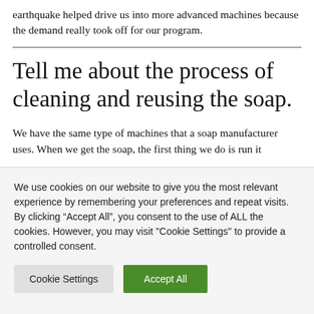earthquake helped drive us into more advanced machines because the demand really took off for our program.
Tell me about the process of cleaning and reusing the soap.
We have the same type of machines that a soap manufacturer uses. When we get the soap, the first thing we do is run it
We use cookies on our website to give you the most relevant experience by remembering your preferences and repeat visits. By clicking “Accept All”, you consent to the use of ALL the cookies. However, you may visit "Cookie Settings" to provide a controlled consent.